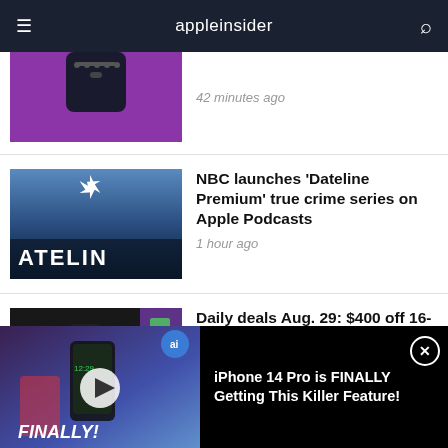appleinsider
[Figure (screenshot): Partial view of an iPhone on purple background]
42 minutes ago
[Figure (screenshot): NBC Dateline logo over nighttime city skyline reading ATELIN]
NBC launches 'Dateline Premium' true crime series on Apple Podcasts
1 hour ago
[Figure (photo): Panasonic Lumix camera against colorful background]
Daily deals Aug. 29: $400 off 16-inch MacBook Pro, $300 off Panasonic Lumix
[Figure (screenshot): Video thumbnail showing iPhone with FINALLY! text overlay]
iPhone 14 Pro is FINALLY Getting This Killer Feature!